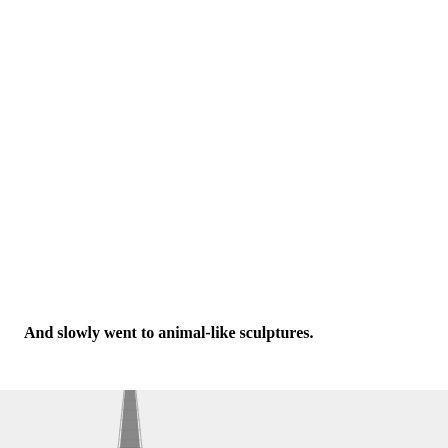And slowly went to animal-like sculptures.
[Figure (photo): Bottom portion of a dark elongated pointed sculpture, shown against a light gray background, cropped at the bottom of the page.]